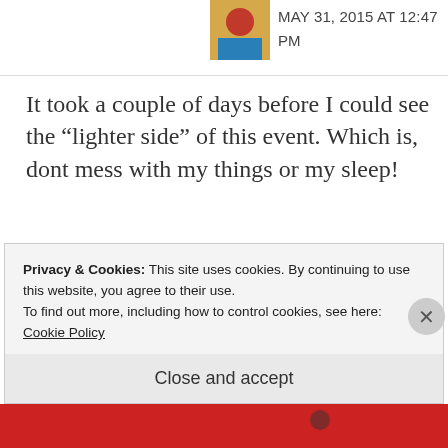MAY 31, 2015 AT 12:47 PM
It took a couple of days before I could see the “lighter side” of this event. Which is, dont mess with my things or my sleep!
★ Like
REPLY
Privacy & Cookies: This site uses cookies. By continuing to use this website, you agree to their use.
To find out more, including how to control cookies, see here: Cookie Policy
Close and accept